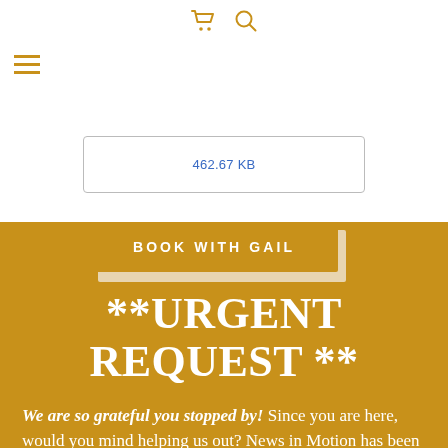cart icon, search icon, hamburger menu
462.67 KB
BOOK WITH GAIL
**URGENT REQUEST **
We are so grateful you stopped by! Since you are here, would you mind helping us out? News in Motion has been on the scene since June 2020. The community is growing, and we are becoming like family. People are here for honest, no